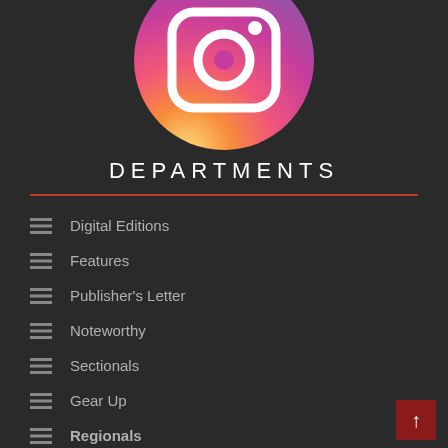[Figure (logo): Instagram logo — gradient circle (orange to purple) with white camera icon]
DEPARTMENTS
Digital Editions
Features
Publisher's Letter
Noteworthy
Sectionals
Gear Up
Regionals